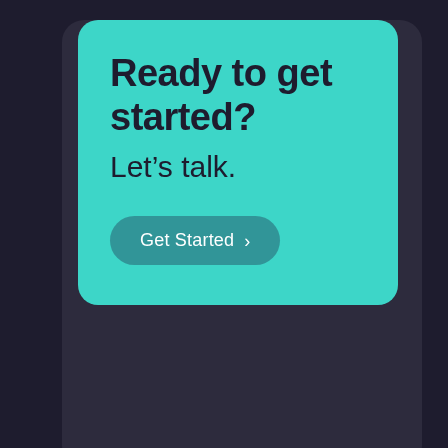Ready to get started?
Let’s talk.
[Figure (infographic): A teal call-to-action card with bold heading 'Ready to get started?', subtitle 'Let’s talk.', and a 'Get Started >' button, overlaid on a dark navy/purple background.]